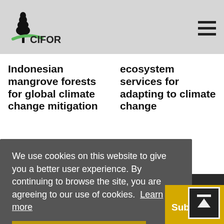CIFOR
Indonesian mangrove forests for global climate change mitigation
ecosystem services for adapting to climate change
We use cookies on this website to give you a better user experience. By continuing to browse the site, you are agreeing to our use of cookies.  Learn more
Accept
Subscribe